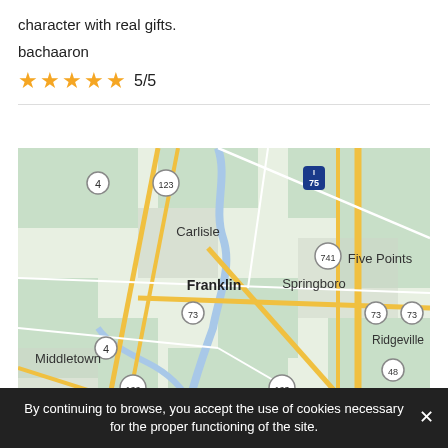character with real gifts.
bachaaron
★★★★★ 5/5
[Figure (map): Google Maps view showing Franklin, Carlisle, Springboro, Middletown, Five Points, Ridgeville area in Ohio with route markers for highways 4, 123, 75, 741, 73, 48, 122]
By continuing to browse, you accept the use of cookies necessary for the proper functioning of the site.